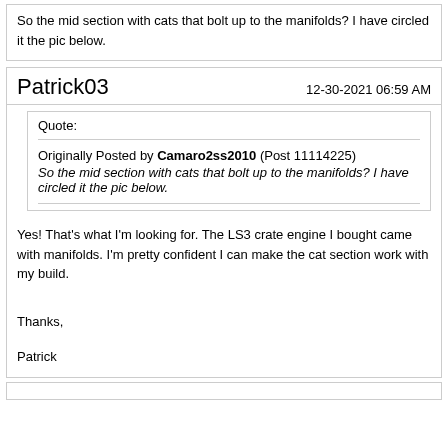So the mid section with cats that bolt up to the manifolds? I have circled it the pic below.
Patrick03   12-30-2021 06:59 AM
Quote: Originally Posted by Camaro2ss2010 (Post 11114225) So the mid section with cats that bolt up to the manifolds? I have circled it the pic below.
Yes! That's what I'm looking for. The LS3 crate engine I bought came with manifolds. I'm pretty confident I can make the cat section work with my build.
Thanks,
Patrick